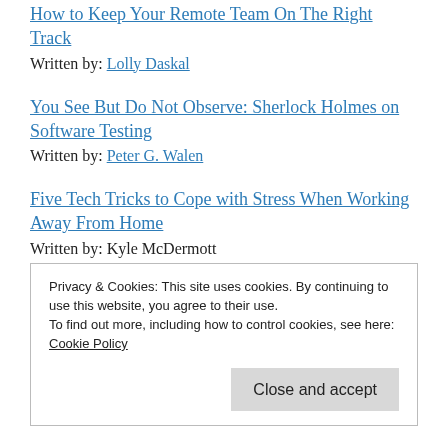How to Keep Your Remote Team On The Right Track
Written by: Lolly Daskal
You See But Do Not Observe: Sherlock Holmes on Software Testing
Written by: Peter G. Walen
Five Tech Tricks to Cope with Stress When Working Away From Home
Written by: Kyle McDermott
Privacy & Cookies: This site uses cookies. By continuing to use this website, you agree to their use.
To find out more, including how to control cookies, see here: Cookie Policy
Close and accept